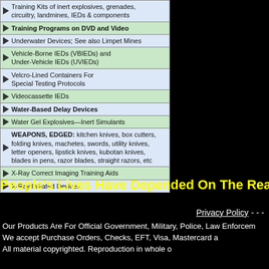Training Kits of inert explosives, grenades, circuitry, landmines, IEDs & components
Training Programs on DVD and Video
Underwater Devices; See also Limpet Mines
Vehicle-Borne IEDs (VBIEDs) and Under-Vehicle IEDs (UVIEDs)
Velcro-Lined Containers For Special Testing Protocols
Videocassette IEDs
Water-Based Delay Devices
Water Gel Explosives—Inert Simulants
WEAPONS, EDGED: kitchen knives, box cutters, folding knives, machetes, swords, utility knives, letter openers, lipstick knives, kubotan knives, blades in pens, razor blades, straight razors, etc
X-Ray Correct Imaging Training Aids
X-Ray Initiated Devices
People's Lives Have Depended On The Realism, Acc
Privacy Policy  - - -
Our Products Are For Official Government, Military, Police, Law Enforcem
We accept Purchase Orders, Checks, EFT, Visa, Mastercard a
All material copyrighted. Reproduction in whole o